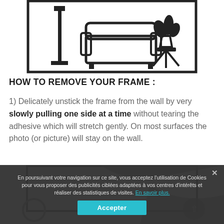[Figure (illustration): Line drawing of a living room scene with a floor lamp on the left, an armchair in the center, and a plant on a side table on the right, all within a rectangular border.]
HOW TO REMOVE YOUR FRAME :
1) Delicately unstick the frame from the wall by very slowly pulling one side at a time without tearing the adhesive which will stretch gently. On most surfaces the photo (or picture) will stay on the wall.
[Figure (photo): Partially visible image at the bottom of the page showing hands or objects, overlaid with a cookie consent banner.]
En poursuivant votre navigation sur ce site, vous acceptez l'utilisation de Cookies pour vous proposer des publicités ciblées adaptées à vos centres d'intérêts et réaliser des statistiques de visites. En savoir plus.
Accepter